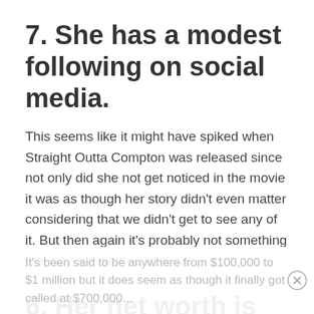7. She has a modest following on social media.
This seems like it might have spiked when Straight Outta Compton was released since not only did she not get noticed in the movie it was as though her story didn't even matter considering that we didn't get to see any of it. But then again it's probably not something that anyone wanted to relive.
6. Her net worth is kind of up in the air.
It's been said to be anywhere from $100,000 to $1 million but it does seem as though it finally got called at $700,000...